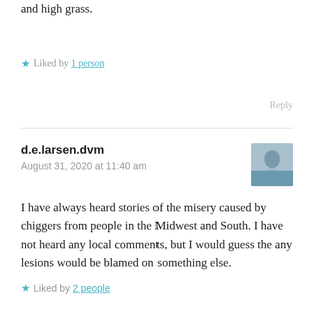on people who have been working outside in the brush and high grass.
★ Liked by 1 person
Reply
d.e.larsen.dvm
August 31, 2020 at 11:40 am
I have always heard stories of the misery caused by chiggers from people in the Midwest and South. I have not heard any local comments, but I would guess the any lesions would be blamed on something else.
★ Liked by 2 people